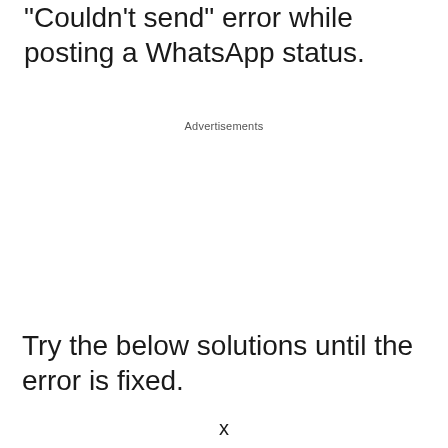“Couldn’t send” error while posting a WhatsApp status.
Advertisements
Try the below solutions until the error is fixed.
x